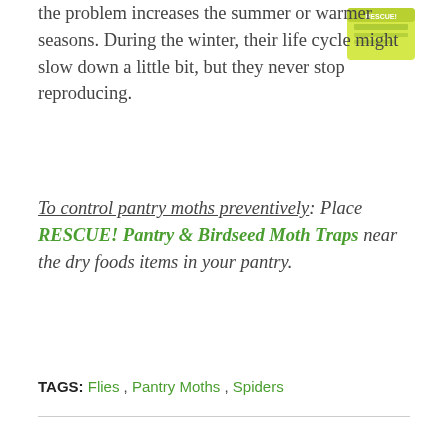[Figure (illustration): Product box image of RESCUE! Pantry & Birdseed Moth Traps in upper right corner]
the problem increases the summer or warmer seasons. During the winter, their life cycle might slow down a little bit, but they never stop reproducing.
To control pantry moths preventively: Place RESCUE! Pantry & Birdseed Moth Traps near the dry foods items in your pantry.
TAGS: Flies , Pantry Moths , Spiders